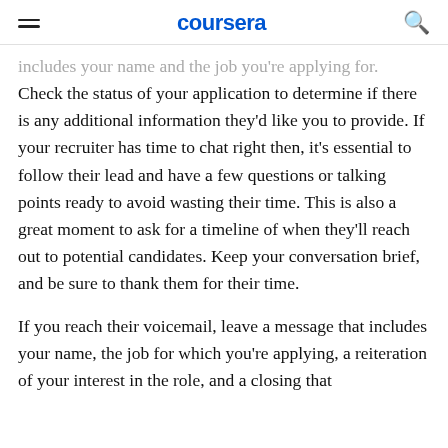coursera
includes your name and the job you're applying for. Check the status of your application to determine if there is any additional information they'd like you to provide. If your recruiter has time to chat right then, it's essential to follow their lead and have a few questions or talking points ready to avoid wasting their time. This is also a great moment to ask for a timeline of when they'll reach out to potential candidates. Keep your conversation brief, and be sure to thank them for their time.
If you reach their voicemail, leave a message that includes your name, the job for which you're applying, a reiteration of your interest in the role, and a closing that